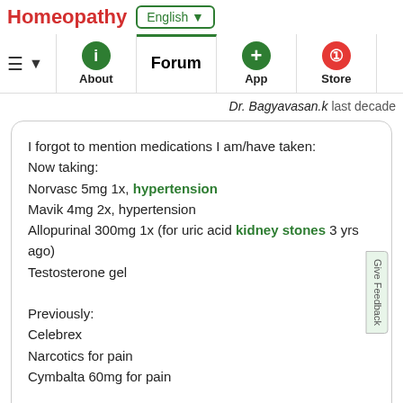Homeopathy | English | About | Forum | App | Store
Dr. Bagyavasan.k last decade
I forgot to mention medications I am/have taken:
Now taking:
Norvasc 5mg 1x, hypertension
Mavik 4mg 2x, hypertension
Allopurinal 300mg 1x (for uric acid kidney stones 3 yrs ago)
Testosterone gel

Previously:
Celebrex
Narcotics for pain
Cymbalta 60mg for pain

I have had a comprehensive cardiac workup and found to be in excellent cardiac health
BearMike last decade